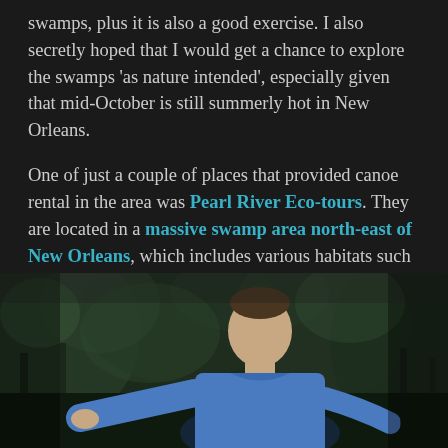swamps, plus it is also a good exercise. I also secretly hoped that I would get a chance to explore the swamps 'as nature intended', especially given that mid-October is still summerly hot in New Orleans.
One of just a couple of places that provided canoe rental in the area was Pearl River Eco-tours. They are located in a massive swamp area north-east of New Orleans, which includes various habitats such as river, marshes and flooded forest swamps.
Our adventure started as soon as we departed from the boat/canoe station. All of a sudden, a fish jumped right in our canoe!
[Figure (photo): A person in a blue t-shirt outdoors in a forested swamp environment, photographed from the waist up, with blurry green trees in the background.]